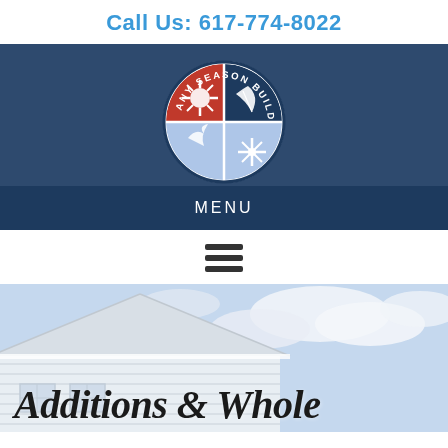Call Us: 617-774-8022
[Figure (logo): Any Season Builders circular shield logo with four quadrants: red sunburst (top left), navy leaf (top right), light blue flame/bird (bottom left), light blue snowflake (bottom right), with text 'ANY SEASON BUILDERS' around the top arc]
MENU
[Figure (illustration): Three horizontal black bars forming a hamburger/menu icon]
[Figure (photo): Photo of a white sided house with gabled roof against a partly cloudy sky]
Additions & Whole